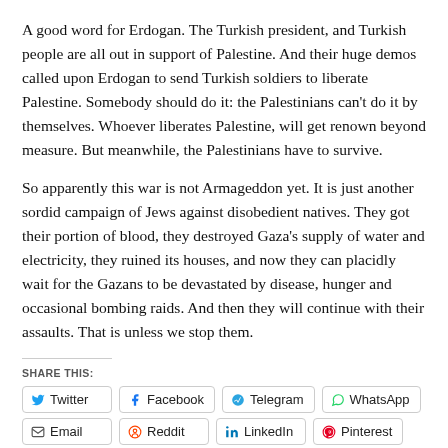A good word for Erdogan. The Turkish president, and Turkish people are all out in support of Palestine. And their huge demos called upon Erdogan to send Turkish soldiers to liberate Palestine. Somebody should do it: the Palestinians can't do it by themselves. Whoever liberates Palestine, will get renown beyond measure. But meanwhile, the Palestinians have to survive.
So apparently this war is not Armageddon yet. It is just another sordid campaign of Jews against disobedient natives. They got their portion of blood, they destroyed Gaza's supply of water and electricity, they ruined its houses, and now they can placidly wait for the Gazans to be devastated by disease, hunger and occasional bombing raids. And then they will continue with their assaults. That is unless we stop them.
SHARE THIS:
Twitter | Facebook | Telegram | WhatsApp | Email | Reddit | LinkedIn | Pinterest